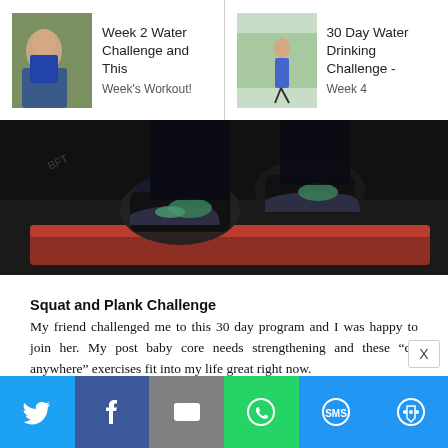[Figure (screenshot): Navigation thumbnails: left shows 'Week 2 Water Challenge and This Week's Workout!' with a person photo, right shows '30 Day Water Drinking Challenge - Week 4' with a person walking photo]
[Figure (photo): Hero image showing a close-up of athletic shoes on a treadmill, dark background with red treadmill belt visible]
Squat and Plank Challenge
My friend challenged me to this 30 day program and I was happy to join her. My post baby core needs strengthening and these “do anywhere” exercises fit into my life great right now.
Cardio Workout
P90X, 30 day shred, cize…just something to mix it up and work other parts of my body. I like to jump in on The Hubs workouts because it’s much more fun with someone else!
[Figure (screenshot): Social share bar at bottom with Twitter, Facebook, Email, WhatsApp, SMS, and More buttons]